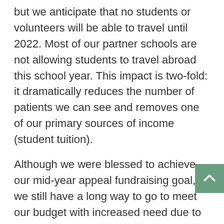but we anticipate that no students or volunteers will be able to travel until 2022. Most of our partner schools are not allowing students to travel abroad this school year. This impact is two-fold: it dramatically reduces the number of patients we can see and removes one of our primary sources of income (student tuition).
Although we were blessed to achieve our mid-year appeal fundraising goal, we still have a long way to go to meet our budget with increased need due to the pandemic's effects. Over the past 5 years that I have been at Hillside, things sometimes get very overwhelming but something always works in our favor so I have faith that this situation will be no different. Please keep us in your thoughts and prayers as we navigate this challenge. Hillside has been here for 20 years, and we plan to make it another 20!